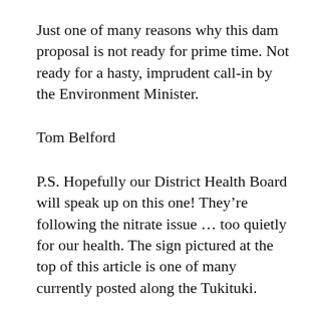Just one of many reasons why this dam proposal is not ready for prime time. Not ready for a hasty, imprudent call-in by the Environment Minister.
Tom Belford
P.S. Hopefully our District Health Board will speak up on this one! They're following the nitrate issue … too quietly for our health. The sign pictured at the top of this article is one of many currently posted along the Tukituki.